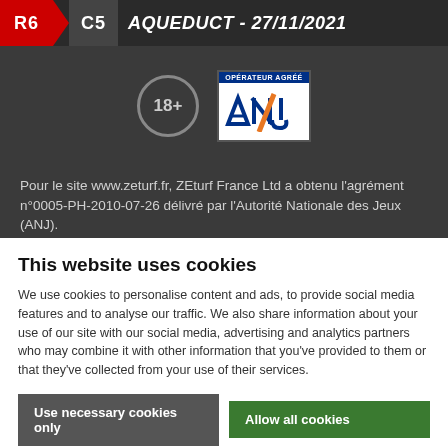R6 C5 AQUEDUCT - 27/11/2021
[Figure (logo): 18+ age restriction badge (circle with 18+ text) and ANJ (Autorité Nationale des Jeux) approved operator logo]
Pour le site www.zeturf.fr, ZEturf France Ltd a obtenu l'agrément n°0005-PH-2010-07-26 délivré par l'Autorité Nationale des Jeux (ANJ).
Interdit au moins de 18 ans
INTERDICTION VOLONTAIRE DE JEUX
Toute personne peut demander à être interdite de jeux. Cette demande est formée auprès de l'Autorité nationale des jeux. Cette interdiction est applicable dans les casinos, dans les clubs de jeux, sur les sites de jeux et de paris en
This website uses cookies
We use cookies to personalise content and ads, to provide social media features and to analyse our traffic. We also share information about your use of our site with our social media, advertising and analytics partners who may combine it with other information that you've provided to them or that they've collected from your use of their services.
Use necessary cookies only
Allow all cookies
Show details